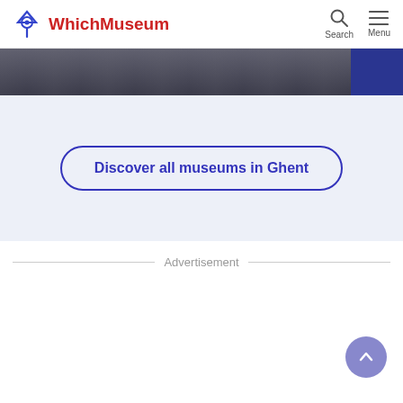WhichMuseum
[Figure (photo): Dark museum image strip at the top of the page]
Discover all museums in Ghent
Advertisement